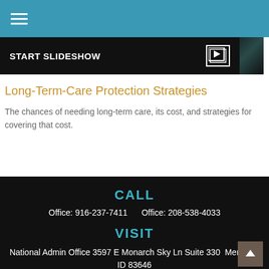Navigation header with hamburger menu
[Figure (screenshot): Start Slideshow banner with dark background and slideshow icon]
Long-Term-Care Protection Strategies
The chances of needing long-term care, its cost, and strategies for covering that cost.
CALL
Office: 916-237-7411    Office: 208-538-4033
VISIT
National Admin Office 3597 E Monarch Sky Ln Suite 330 Meridian, ID 83646